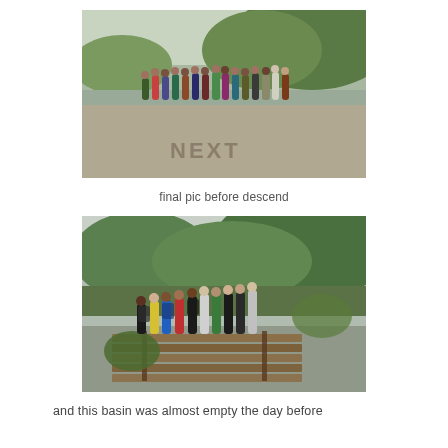[Figure (photo): Group of hikers standing on a sandy/muddy flat area near water with green hills in background. Text 'NEXT' written in the sand in front of them.]
final pic before descend
[Figure (photo): Group of hikers posing on a wooden plank bridge over a shallow river/basin area, with green vegetation and mountains in the background.]
and this basin was almost empty the day before